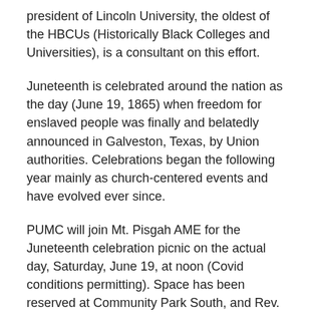president of Lincoln University, the oldest of the HBCUs (Historically Black Colleges and Universities), is a consultant on this effort.
Juneteenth is celebrated around the nation as the day (June 19, 1865) when freedom for enslaved people was finally and belatedly announced in Galveston, Texas, by Union authorities. Celebrations began the following year mainly as church-centered events and have evolved ever since.
PUMC will join Mt. Pisgah AME for the Juneteenth celebration picnic on the actual day, Saturday, June 19, at noon (Covid conditions permitting). Space has been reserved at Community Park South, and Rev. Dr. Blanks and Dana are assembling a volunteer team.
As United Methodists we have so much in common with the African Methodist Episcopal Church...